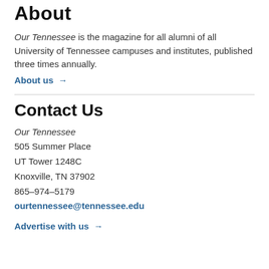About
Our Tennessee is the magazine for all alumni of all University of Tennessee campuses and institutes, published three times annually.
About us →
Contact Us
Our Tennessee
505 Summer Place
UT Tower 1248C
Knoxville, TN 37902
865-974-5179
ourtennessee@tennessee.edu
Advertise with us →